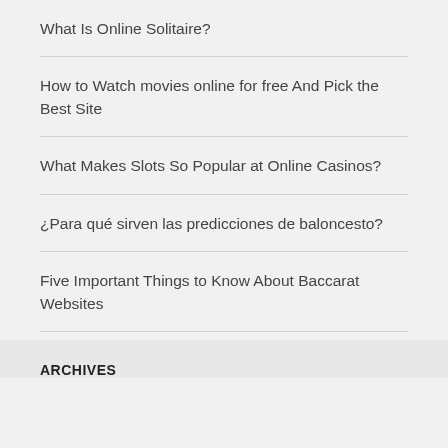What Is Online Solitaire?
How to Watch movies online for free And Pick the Best Site
What Makes Slots So Popular at Online Casinos?
¿Para qué sirven las predicciones de baloncesto?
Five Important Things to Know About Baccarat Websites
ARCHIVES